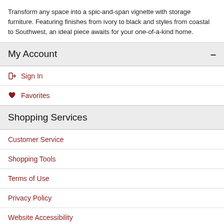Transform any space into a spic-and-span vignette with storage furniture. Featuring finishes from ivory to black and styles from coastal to Southwest, an ideal piece awaits for your one-of-a-kind home.
My Account
Sign In
Favorites
Shopping Services
Customer Service
Shopping Tools
Terms of Use
Privacy Policy
Website Accessibility